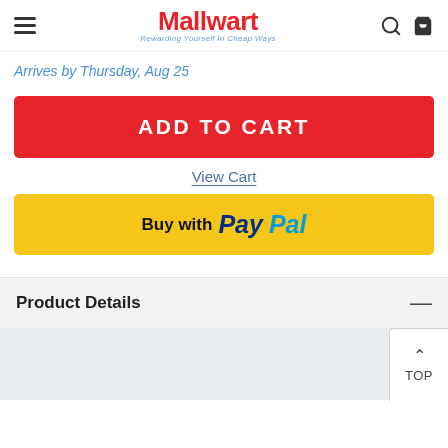Mallwart — Rewarding Yourself In Cheap Ways
Arrives by Thursday, Aug 25
ADD TO CART
View Cart
Buy with PayPal
Product Details